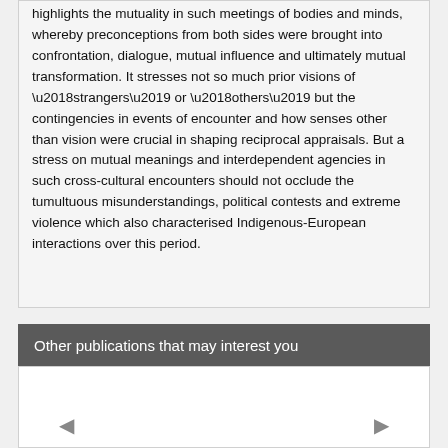highlights the mutuality in such meetings of bodies and minds, whereby preconceptions from both sides were brought into confrontation, dialogue, mutual influence and ultimately mutual transformation. It stresses not so much prior visions of ‘strangers’ or ‘others’ but the contingencies in events of encounter and how senses other than vision were crucial in shaping reciprocal appraisals. But a stress on mutual meanings and interdependent agencies in such cross-cultural encounters should not occlude the tumultuous misunderstandings, political contests and extreme violence which also characterised Indigenous-European interactions over this period.
Other publications that may interest you